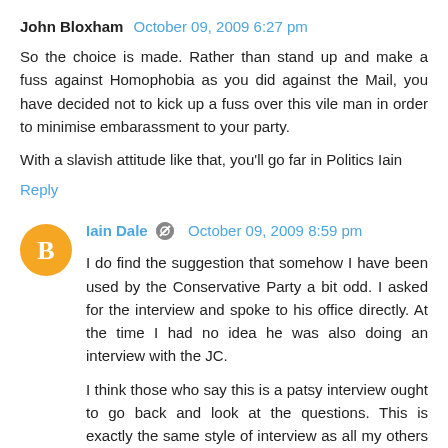John Bloxham  October 09, 2009 6:27 pm
So the choice is made. Rather than stand up and make a fuss against Homophobia as you did against the Mail, you have decided not to kick up a fuss over this vile man in order to minimise embarassment to your party.
With a slavish attitude like that, you'll go far in Politics Iain
Reply
Iain Dale  October 09, 2009 8:59 pm
I do find the suggestion that somehow I have been used by the Conservative Party a bit odd. I asked for the interview and spoke to his office directly. At the time I had no idea he was also doing an interview with the JC.
I think those who say this is a patsy interview ought to go back and look at the questions. This is exactly the same style of interview as all my others for Total Politics. They are IN CONVERSATION interviews, not Paxmanesque